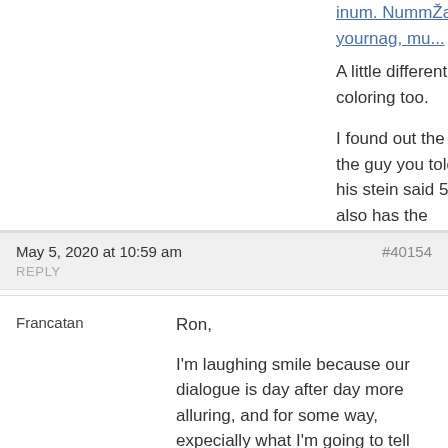A little different coloring too.
I found out the the guy you told his stein said 5 L also has the Girmscheid 24 L stein.
May 5, 2020 at 10:59 am
#40154
REPLY
Francatan
Ron,
I'm laughing smile because our dialogue is day after day more alluring, and for some way, expecially what I'm going to tell you now, it may look that I live in the States, not in Italy.